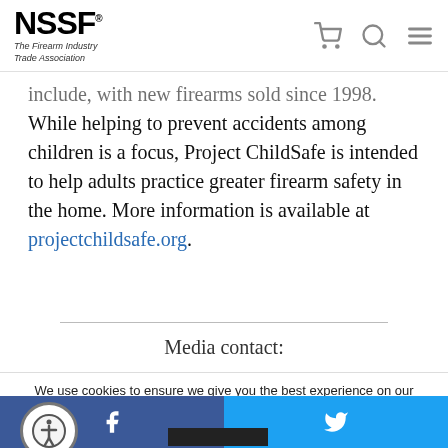NSSF® The Firearm Industry Trade Association
include, with new firearms sold since 1998. While helping to prevent accidents among children is a focus, Project ChildSafe is intended to help adults practice greater firearm safety in the home. More information is available at projectchildsafe.org.
Media contact:
We use cookies to ensure we give you the best experience on our website. By clicking "Accept" or using our website, you consent to the use of cookies unless you have disabled them.